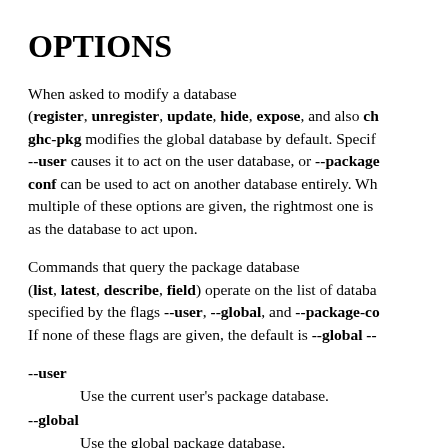OPTIONS
When asked to modify a database (register, unregister, update, hide, expose, and also ch... ghc-pkg modifies the global database by default. Specif... --user causes it to act on the user database, or --package... conf can be used to act on another database entirely. Wh... multiple of these options are given, the rightmost one is... as the database to act upon.
Commands that query the package database (list, latest, describe, field) operate on the list of databa... specified by the flags --user, --global, and --package-co... If none of these flags are given, the default is --global --...
--user
        Use the current user's package database.
--global
        Use the global package database.